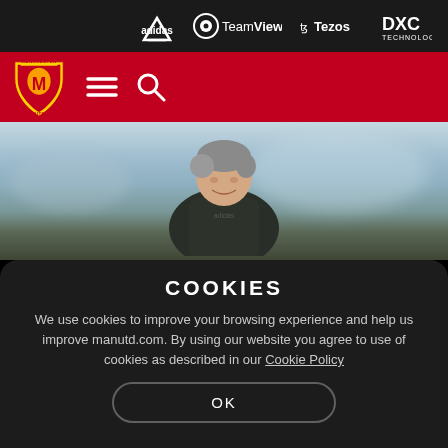adidas | TeamViewer | Tezos | DXC Technology
[Figure (screenshot): Manchester United website navigation bar with red background, MU badge/crest, hamburger menu icon, and search icon]
[Figure (photo): Man smiling in dark Adidas jacket, grey hair, at outdoor training ground with snowy/blurred background]
COOKIES
We use cookies to improve your browsing experience and help us improve manutd.com. By using our website you agree to use of cookies as described in our Cookie Policy
OK